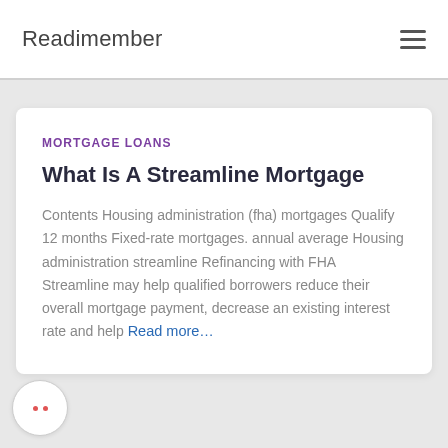Readimember
MORTGAGE LOANS
What Is A Streamline Mortgage
Contents Housing administration (fha) mortgages Qualify 12 months Fixed-rate mortgages. annual average Housing administration streamline Refinancing with FHA Streamline may help qualified borrowers reduce their overall mortgage payment, decrease an existing interest rate and help Read more…